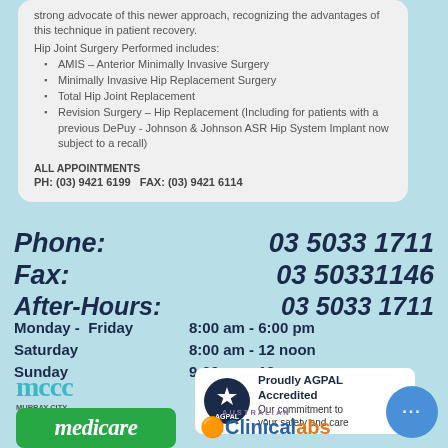strong advocate of this newer approach, recognizing the advantages of this technique in patient recovery.
Hip Joint Surgery Performed includes:
AMIS – Anterior Minimally Invasive Surgery
Minimally Invasive Hip Replacement Surgery
Total Hip Joint Replacement
Revision Surgery – Hip Replacement (Including for patients with a previous DePuy - Johnson & Johnson ASR Hip System Implant now subject to a recall)
ALL APPOINTMENTS
PH: (03) 9421 6199   FAX: (03) 9421 6114
Phone:          03 5033 1711
Fax:               03 50331146
After-Hours: 03 5033 1711
Monday -  Friday   8:00 am - 6:00 pm
Saturday              8:00 am - 12 noon
Sunday               9:00 am - 12 noon
[Figure (logo): Murray City Country Coast GP Training logo with teal wave design]
[Figure (logo): AGPAL Proudly Accredited badge - Our commitment to your safety and care]
[Figure (logo): Medicare green badge logo]
[Figure (logo): Australian Clinical Labs logo with orange and blue text]